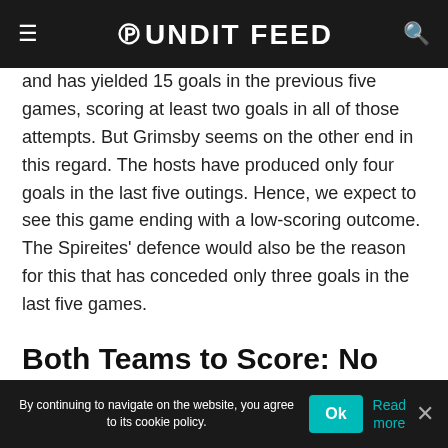Pundit Feed
and has yielded 15 goals in the previous five games, scoring at least two goals in all of those attempts. But Grimsby seems on the other end in this regard. The hosts have produced only four goals in the last five outings. Hence, we expect to see this game ending with a low-scoring outcome. The Spireites' defence would also be the reason for this that has conceded only three goals in the last five games.
Both Teams to Score: No
Chesterfield has been consistent in scoring in the recent matches and have scored in almost all of the games of this season. While the Mariners are lagging in this regard recently and didn't score in
By continuing to navigate on the website, you agree to its cookie policy. Ok Read more ×